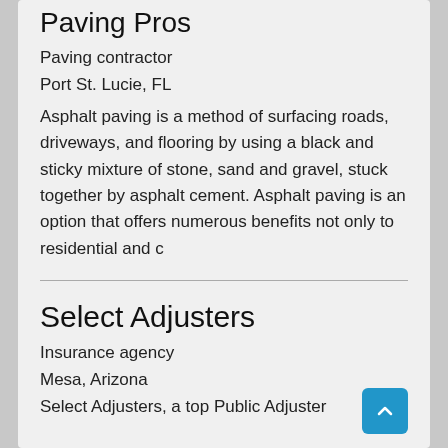Paving Pros
Paving contractor
Port St. Lucie, FL
Asphalt paving is a method of surfacing roads, driveways, and flooring by using a black and sticky mixture of stone, sand and gravel, stuck together by asphalt cement. Asphalt paving is an option that offers numerous benefits not only to residential and c
Select Adjusters
Insurance agency
Mesa, Arizona
Select Adjusters, a top Public Adjuster